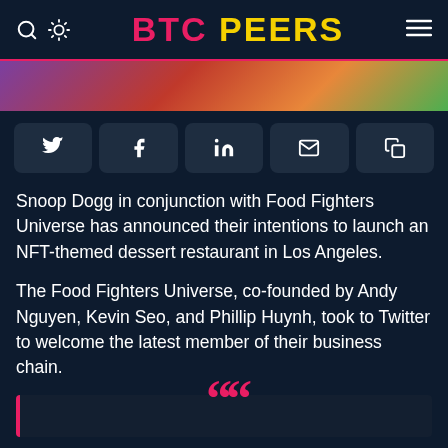BTC PEERS
[Figure (photo): Partial hero image showing colorful background, cropped at top]
[Figure (infographic): Social share buttons: Twitter, Facebook, LinkedIn, Email, Copy]
Snoop Dogg in conjunction with Food Fighters Universe has announced their intentions to launch an NFT-themed dessert restaurant in Los Angeles.
The Food Fighters Universe, co-founded by Andy Nguyen, Kevin Seo, and Phillip Huynh, took to Twitter to welcome the latest member of their business chain.
[Figure (illustration): Opening quotation mark decoration in pink/red color above a dark blockquote section]